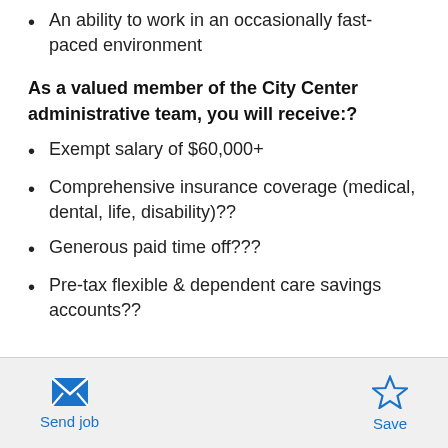An ability to work in an occasionally fast-paced environment
As a valued member of the City Center administrative team, you will receive:?
Exempt salary of $60,000+
Comprehensive insurance coverage (medical, dental, life, disability)??
Generous paid time off???
Pre-tax flexible & dependent care savings accounts??
Send job   Save